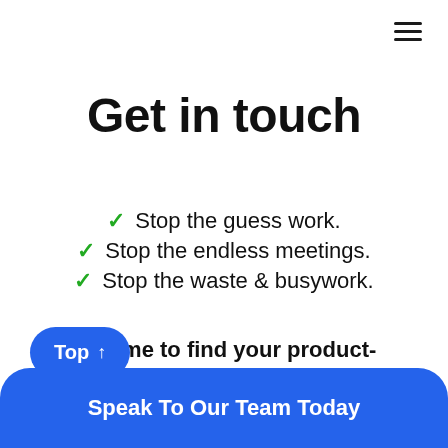[Figure (other): Hamburger menu icon (three horizontal lines) in top right corner]
Get in touch
Stop the guess work.
Stop the endless meetings.
Stop the waste & busywork.
It's time to find your product-market fit!!!
[Figure (other): Blue rounded 'Top ↑' button]
[Figure (other): Blue rounded 'Speak To Our Team Today' button partially visible at bottom]